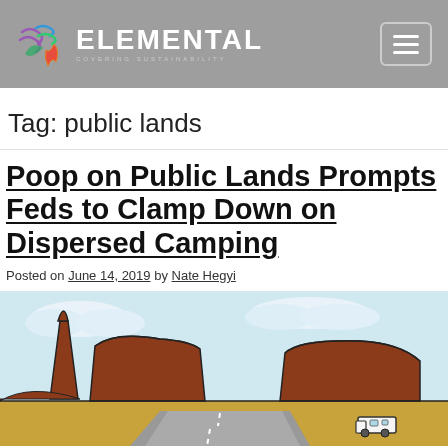ELEMENTAL — COVERING SUSTAINABILITY
Tag: public lands
Poop on Public Lands Prompts Feds to Clamp Down on Dispersed Camping
Posted on June 14, 2019 by Nate Hegyi
[Figure (illustration): Illustrated desert landscape with red rock formations (buttes and mesas), a light blue sky with clouds, a road in the foreground, and a small white RV/camper visible at bottom right.]